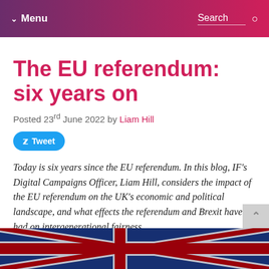Menu | Search
The EU referendum: six years on
Posted 23rd June 2022 by Liam Hill
Tweet
Today is six years since the EU referendum. In this blog, IF's Digital Campaigns Officer, Liam Hill, considers the impact of the EU referendum on the UK's economic and political landscape, and what effects the referendum and Brexit have had on intergenerational fairness.
[Figure (photo): UK Union Jack flag photograph at the bottom of the page]